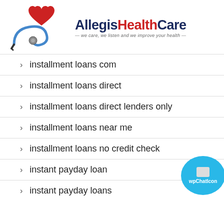[Figure (logo): Allegis HealthCare logo with red heart, stethoscope, and tagline 'we care, we listen and we improve your health']
installment loans com
installment loans direct
installment loans direct lenders only
installment loans near me
installment loans no credit check
instant payday loan
instant payday loans